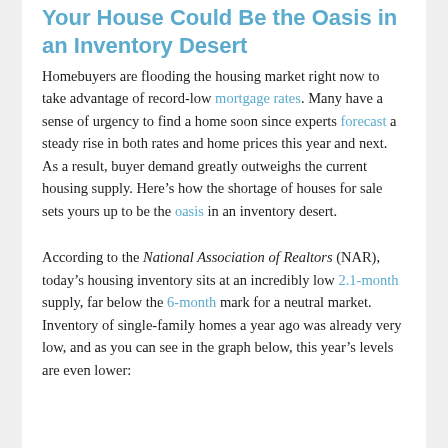Your House Could Be the Oasis in an Inventory Desert
Homebuyers are flooding the housing market right now to take advantage of record-low mortgage rates. Many have a sense of urgency to find a home soon since experts forecast a steady rise in both rates and home prices this year and next. As a result, buyer demand greatly outweighs the current housing supply. Here’s how the shortage of houses for sale sets yours up to be the oasis in an inventory desert.
According to the National Association of Realtors (NAR), today’s housing inventory sits at an incredibly low 2.1-month supply, far below the 6-month mark for a neutral market. Inventory of single-family homes a year ago was already very low, and as you can see in the graph below, this year’s levels are even lower: